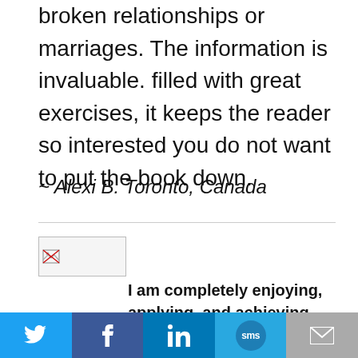broken relationships or marriages. The information is invaluable. filled with great exercises, it keeps the reader so interested you do not want to put the book down.
~ Alexi B. Toronto, Canada
[Figure (photo): Small image thumbnail placeholder with broken image icon]
I am completely enjoying, applying, and achieving good results from what I'm learning
Twitter | Facebook | LinkedIn | SMS | Email